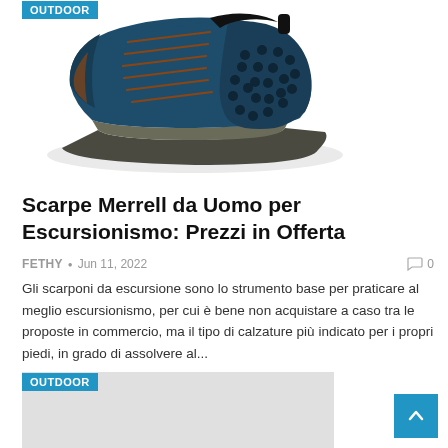[Figure (photo): Merrell hiking shoe for men — dark teal/navy color with brown laces and perforated side panel, shown from the side on white background. OUTDOOR badge in top-left corner.]
Scarpe Merrell da Uomo per Escursionismo: Prezzi in Offerta
FETHY • Jun 11, 2022    ❏ 0
Gli scarponi da escursione sono lo strumento base per praticare al meglio escursionismo, per cui è bene non acquistare a caso tra le proposte in commercio, ma il tipo di calzature più indicato per i propri piedi, in grado di assolvere al...
[Figure (photo): Second article card with OUTDOOR badge, partially visible, light gray placeholder image area.]